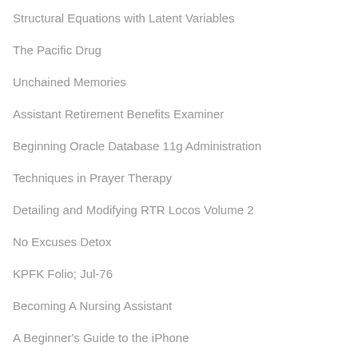Structural Equations with Latent Variables
The Pacific Drug
Unchained Memories
Assistant Retirement Benefits Examiner
Beginning Oracle Database 11g Administration
Techniques in Prayer Therapy
Detailing and Modifying RTR Locos Volume 2
No Excuses Detox
KPFK Folio; Jul-76
Becoming A Nursing Assistant
A Beginner's Guide to the iPhone
Rand McNally Folded Map Central United States M…